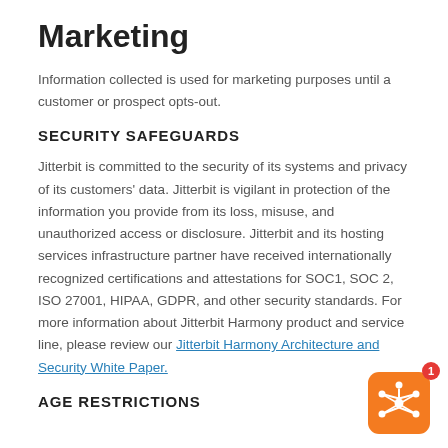Marketing
Information collected is used for marketing purposes until a customer or prospect opts-out.
SECURITY SAFEGUARDS
Jitterbit is committed to the security of its systems and privacy of its customers' data. Jitterbit is vigilant in protection of the information you provide from its loss, misuse, and unauthorized access or disclosure. Jitterbit and its hosting services infrastructure partner have received internationally recognized certifications and attestations for SOC1, SOC 2, ISO 27001, HIPAA, GDPR, and other security standards. For more information about Jitterbit Harmony product and service line, please review our Jitterbit Harmony Architecture and Security White Paper.
AGE RESTRICTIONS
[Figure (logo): Jitterbit orange rounded square logo badge with white interconnected nodes icon and red notification badge showing '1']